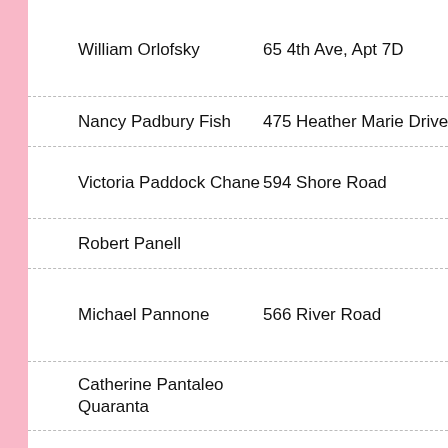| Name | Address | City |
| --- | --- | --- |
| William Orlofsky | 65 4th Ave, Apt 7D | New York, N… |
| Nancy Padbury Fish | 475 Heather Marie Drive | Hendersonv… |
| Victoria Paddock Chane | 594 Shore Road | Chatham, M… |
| Robert Panell |  |  |
| Michael Pannone | 566 River Road | Cos Cob, C… |
| Catherine Pantaleo Quaranta |  |  |
| Richard Parker | 459 Gehring Road | Tolland, CT |
| Marc Particelli | 15 Grove Lane | Greenwich,… |